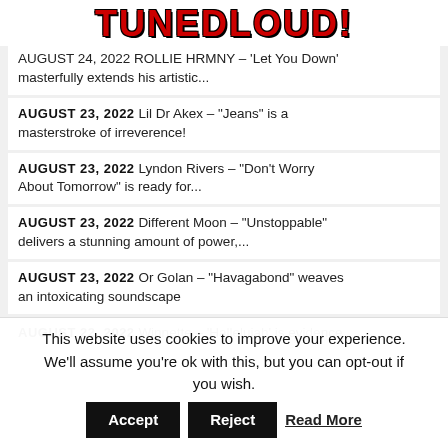TUNEDLOUD!
AUGUST 24, 2022  ROLLIE HRMNY – 'Let You Down' masterfully extends his artistic...
AUGUST 23, 2022  Lil Dr Akex – "Jeans" is a masterstroke of irreverence!
AUGUST 23, 2022  Lyndon Rivers – "Don't Worry About Tomorrow" is ready for...
AUGUST 23, 2022  Different Moon – "Unstoppable" delivers a stunning amount of power,...
AUGUST 23, 2022  Or Golan – "Havagabond" weaves an intoxicating soundscape
AUGUST 22, 2022  Winnette – 'Hallelujah' is evidence...
This website uses cookies to improve your experience. We'll assume you're ok with this, but you can opt-out if you wish.  Accept  Reject  Read More